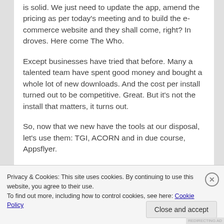is solid. We just need to update the app, amend the pricing as per today's meeting and to build the e-commerce website and they shall come, right? In droves. Here come The Who.
Except businesses have tried that before. Many a talented team have spent good money and bought a whole lot of new downloads. And the cost per install turned out to be competitive. Great. But it's not the install that matters, it turns out.
So, now that we new have the tools at our disposal, let's use them: TGI, ACORN and in due course, Appsflyer.
Last week, I totally got to grips with personas that
Privacy & Cookies: This site uses cookies. By continuing to use this website, you agree to their use.
To find out more, including how to control cookies, see here: Cookie Policy